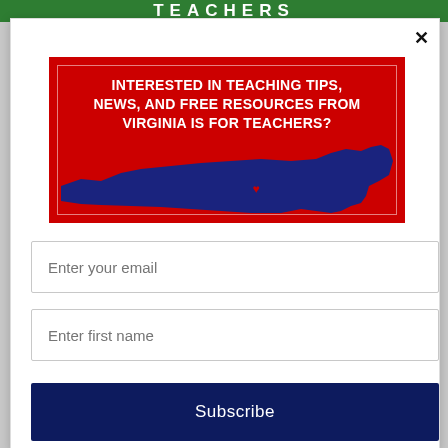[Figure (screenshot): Green header banner with stylized 'TEACHERS' text on green background]
[Figure (illustration): Red promotional banner with white text reading 'INTERESTED IN TEACHING TIPS, NEWS, AND FREE RESOURCES FROM VIRGINIA IS FOR TEACHERS?' overlaid on a dark navy silhouette of the state of Virginia with a small heart]
Enter your email
Enter first name
Subscribe